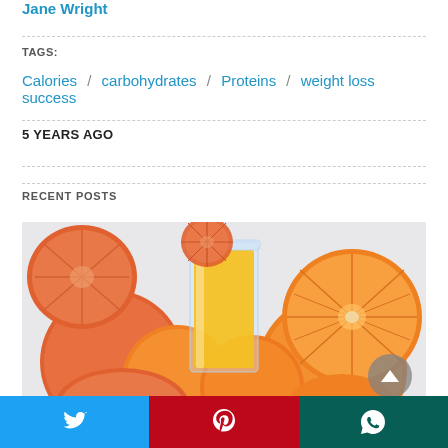Jane Wright
TAGS:
Calories / carbohydrates / Proteins / weight loss success
5 YEARS AGO
RECENT POSTS
[Figure (photo): Glass of orange juice surrounded by oranges and grapefruits on a light background]
Twitter | Pinterest | WhatsApp social share buttons